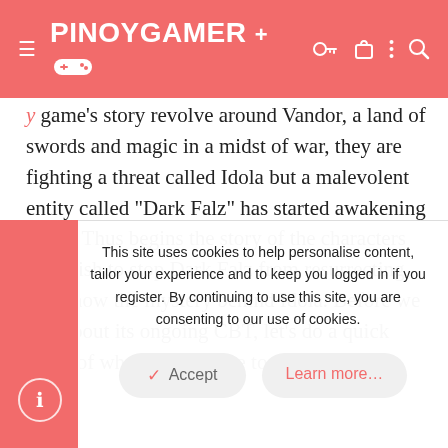PINOYGAMER+ (logo with gaming icons)
game's story revolve around Vandor, a land of swords and magic in a midst of war, they are fighting a threat called Idola but a malevolent entity called "Dark Falz" has started awakening again. Thus begins the story of the characters that wish to stop Dark Falz from resurrecting and know the mystery behind Idola. Before we talk about its ongoing CBT, let's do a quick recap of what does it have to offer.
[Figure (illustration): Characters from what appears to be a fantasy RPG game — multiple anime-style characters including armored figures and fantasy warriors]
This site uses cookies to help personalise content, tailor your experience and to keep you logged in if you register. By continuing to use this site, you are consenting to our use of cookies.